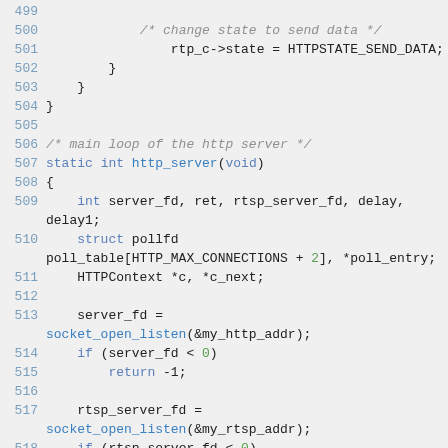[Figure (screenshot): Source code listing in C, lines 499-519, showing HTTP server state management and socket initialization code with syntax highlighting on a light grey background.]